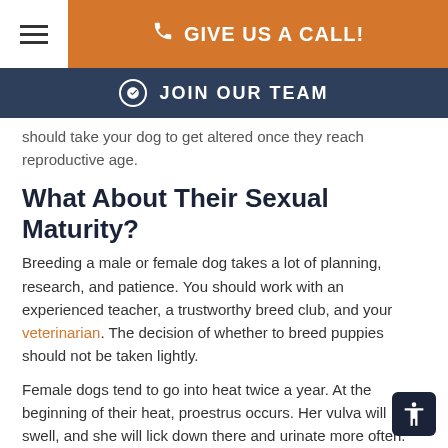GIVE US A CALL!
JOIN OUR TEAM
should take your dog to get altered once they reach reproductive age.
What About Their Sexual Maturity?
Breeding a male or female dog takes a lot of planning, research, and patience. You should work with an experienced teacher, a trustworthy breed club, and your veterinarian. The decision of whether to breed puppies should not be taken lightly.
Female dogs tend to go into heat twice a year. At the beginning of their heat, proestrus occurs. Her vulva will swell, and she will lick down there and urinate more often. She will also have vaginal discharge, which is somewhat like the human period. She will be fertile for a couple of weeks. The first heat is sometime between six and fifteen months. This age is when they mature. On the other hand, Male dogs will be active all year long, and they can have puppies at five months of age.